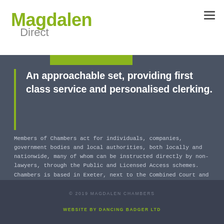Magdalen Direct
An approachable set, providing first class service and personalised clerking.
Members of Chambers act for individuals, companies, government bodies and local authorities, both locally and nationwide, many of whom can be instructed directly by non-lawyers, through the Public and Licensed Access schemes. Chambers is based in Exeter, next to the Combined Court and Employment Tribunal, and incorporates specially designed mediation facilities.
© 2019 MAGDALEN CHAMBERS
WEBSITE BY DANCING BADGER LTD